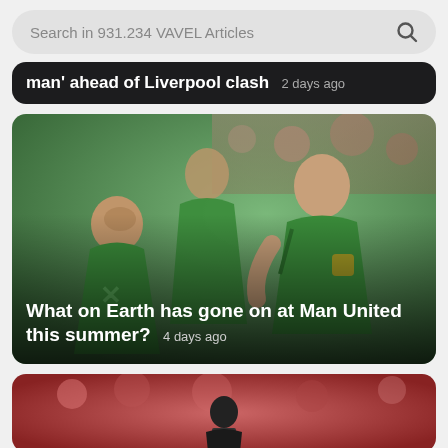[Figure (screenshot): Search bar with text 'Search in 931.234 VAVEL Articles' and a magnifying glass icon on the right]
[Figure (screenshot): Partially visible dark article card with headline ending in 'man' ahead of Liverpool clash' and timestamp '2 days ago']
[Figure (photo): Photo of Manchester United players in green away kit, with article headline 'What on Earth has gone on at Man United this summer? 4 days ago']
[Figure (photo): Partially visible photo of a figure in a stadium crowd, bottom of page]